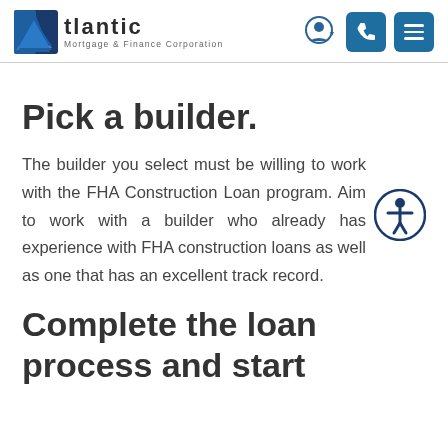Atlantic Mortgage & Finance Corporation
Pick a builder.
The builder you select must be willing to work with the FHA Construction Loan program. Aim to work with a builder who already has experience with FHA construction loans as well as one that has an excellent track record.
Complete the loan process and start